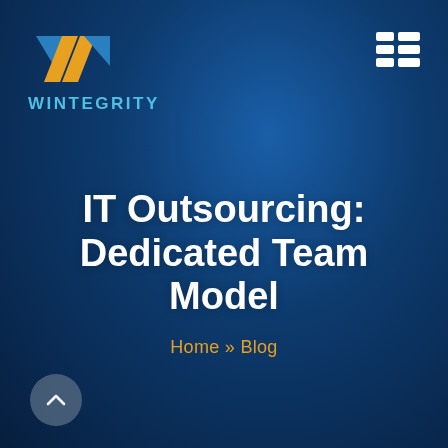[Figure (logo): Wintegrity logo: blue and orange chevron/W mark above the text WINTEGRITY in cyan uppercase letters]
[Figure (other): White hamburger menu icon (grid of 6 squares in 2 columns x 3 rows) in top right corner]
IT Outsourcing: Dedicated Team Model
Home » Blog